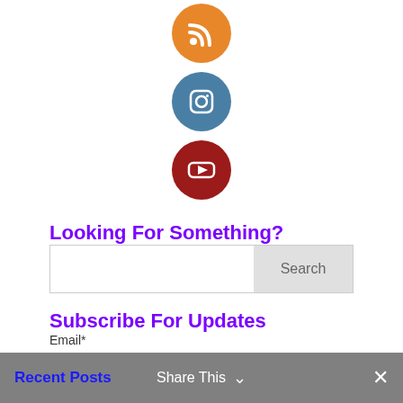[Figure (illustration): Three social media icon circles stacked vertically: RSS (orange), Instagram (blue-gray), YouTube (dark red)]
Looking For Something?
[Figure (other): Search bar with text input and Search button]
Subscribe For Updates
Email*
[Figure (other): Email text input field]
[Figure (other): SUBMIT button]
Recent Posts   Share This  ✕